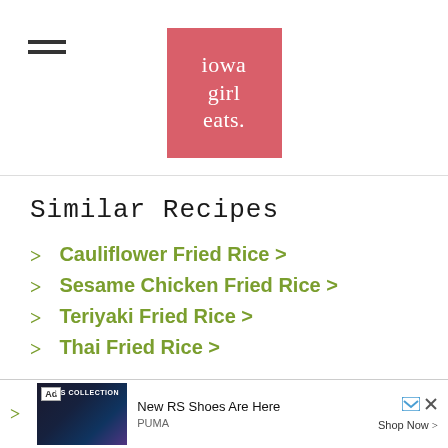[Figure (logo): Iowa Girl Eats logo — pink/red square with white serif text reading 'iowa girl eats.']
Similar Recipes
Cauliflower Fried Rice >
Sesame Chicken Fried Rice >
Teriyaki Fried Rice >
Thai Fried Rice >
[Figure (screenshot): Advertisement banner for PUMA RS Collection shoes: 'New RS Shoes Are Here' with Shop Now link]